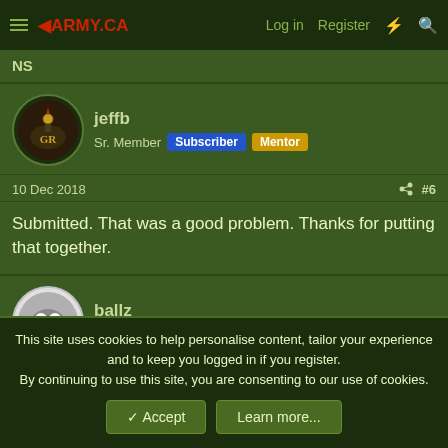4ARMY.CA — Log in  Register
NS
jeffb
Sr. Member  Subscriber  Mentor
10 Dec 2018  #6
Submitted. That was a good problem. Thanks for putting that together.
ballz
Army.ca Veteran  Subscriber
This site uses cookies to help personalise content, tailor your experience and to keep you logged in if you register.
By continuing to use this site, you are consenting to our use of cookies.